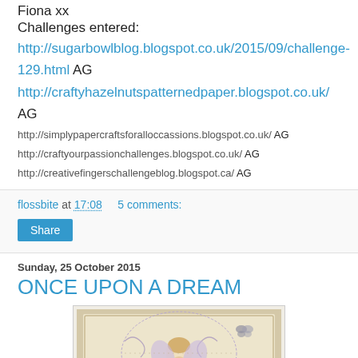Fiona xx
Challenges entered:
http://sugarbowlblog.blogspot.co.uk/2015/09/challenge-129.html AG
http://craftyhazelnutspatternedpaper.blogspot.co.uk/ AG
http://simplypapercraftsforalloccassions.blogspot.co.uk/ AG
http://craftyourpassionchallenges.blogspot.co.uk/ AG
http://creativefingerschallengeblog.blogspot.ca/ AG
flossbite at 17:08   5 comments:
Share
Sunday, 25 October 2015
ONCE UPON A DREAM
[Figure (photo): Handmade greeting card featuring an illustrated figure of a girl with fairy wings, decorative swirls, and embellishments on a cream/tan background with scalloped border]